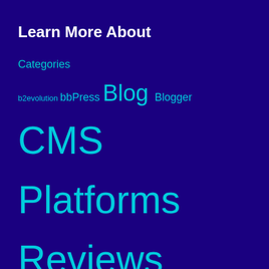Learn More About
Categories
b2evolution bbPress Blog Blogger CMS Platforms Reviews Concrete5 DataLife Engine DotNetNuke Drupal e107 Ektron Experts' Insights ExpressionEngine ExpressionEngine forum eZ Publish Forum Platforms Reviews Helpful Tips HTML IP.Board Jimdo Joomla! K2 Kentico CMS Kunena MediaWiki Movable Type MyBB Our News PHP-Fusion phpBB Plone